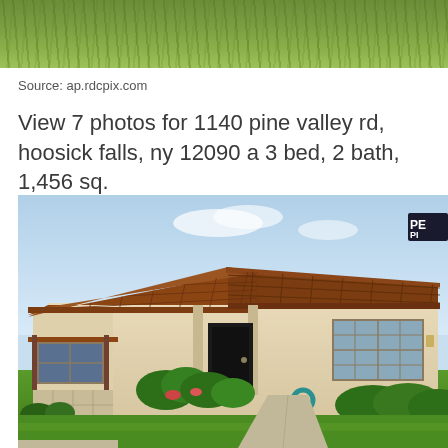[Figure (photo): Partial top photo showing green grassy hillside/vegetation]
Source: ap.rdcpix.com
View 7 photos for 1140 pine valley rd, hoosick falls, ny 12090 a 3 bed, 2 bath, 1,456 sq.
[Figure (photo): Exterior photo of a single-story ranch-style house with terracotta tile roof, stucco walls, green lawn, and a Pepsi sign visible in the upper right corner]